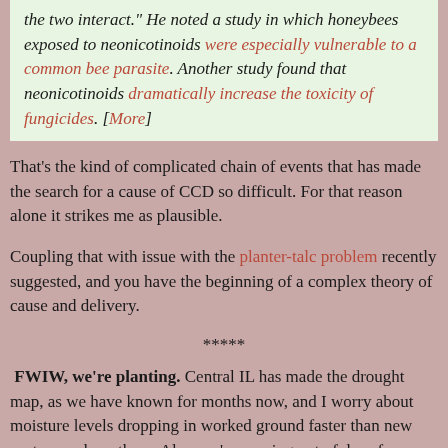the two interact." He noted a study in which honeybees exposed to neonicotinoids were especially vulnerable to a common bee parasite. Another study found that neonicotinoids dramatically increase the toxicity of fungicides. [More]
That's the kind of complicated chain of events that has made the search for a cause of CCD so difficult. For that reason alone it strikes me as plausible.
Coupling that with issue with the planter-talc problem recently suggested, and you have the beginning of a complex theory of cause and delivery.
*****
FWIW, we're planting. Central IL has made the drought map, as we have known for months now, and I worry about moisture levels dropping in worked ground faster than new roots can chase them. Also, we're running out of days for a frost, albeit historically, it could still happen, I know. There is